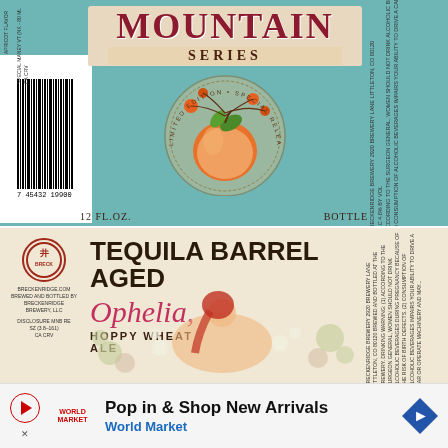[Figure (photo): Mountain Series beer label with teal background, peach illustration, ornate circular design, barcode on left, text on right side. 12 FL.OZ. BOTTLE. Limited Edition Special Release.]
[Figure (photo): Tequila Barrel Aged Ophelia Hoppy Wheat Ale label with cream/beige background, vintage illustration of reclining woman with red hair surrounded by flowers, Breckenridge Brewery logo on left, legal text on right.]
Pop in & Shop New Arrivals
World Market